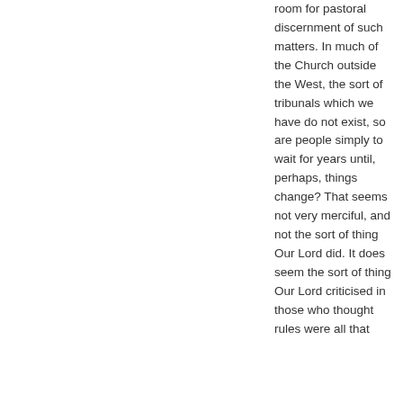room for pastoral discernment of such matters. In much of the Church outside the West, the sort of tribunals which we have do not exist, so are people simply to wait for years until, perhaps, things change? That seems not very merciful, and not the sort of thing Our Lord did. It does seem the sort of thing Our Lord criticised in those who thought rules were all that